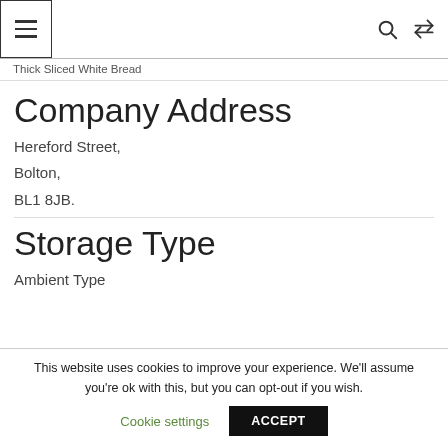≡  🔍  ⇄
Thick Sliced White Bread
Company Address
Hereford Street,
Bolton,
BL1 8JB.
Storage Type
Ambient Type
This website uses cookies to improve your experience. We'll assume you're ok with this, but you can opt-out if you wish.
Cookie settings   ACCEPT